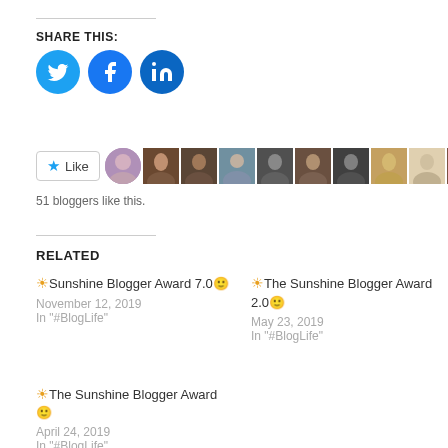SHARE THIS:
[Figure (infographic): Three social media share buttons: Twitter (blue bird), Facebook (blue f), LinkedIn (blue in)]
[Figure (infographic): Like button with star icon and 10 blogger avatar thumbnails. 51 bloggers like this.]
51 bloggers like this.
RELATED
🌞Sunshine Blogger Award 7.0🙂
November 12, 2019
In "#BlogLife"
🌞The Sunshine Blogger Award 2.0🙂
May 23, 2019
In "#BlogLife"
🌞The Sunshine Blogger Award🙂
April 24, 2019
In "#BlogLife"